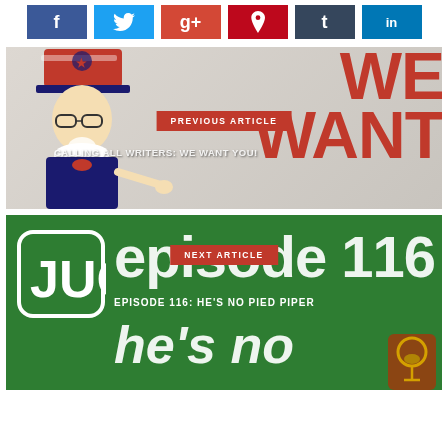[Figure (infographic): Social media share buttons: Facebook (blue, f icon), Twitter (light blue, bird icon), Google+ (red-orange, g+ icon), Pinterest (red, P icon), Tumblr (dark blue, t icon), LinkedIn (blue, in icon)]
[Figure (infographic): Previous article banner with Uncle Sam pointing at viewer on left, large red 'WE WANT' text on right, red label button saying 'PREVIOUS ARTICLE', and subtitle 'CALLING ALL WRITERS: WE WANT YOU!']
[Figure (infographic): Next article banner on green background with JUG logo (rounded square with JUG text), large white 'episode 116' text, red label button saying 'NEXT ARTICLE', subtitle 'EPISODE 116: HE'S NO PIED PIPER', large white italic 'he's no' text, and wine glass icon bottom right]